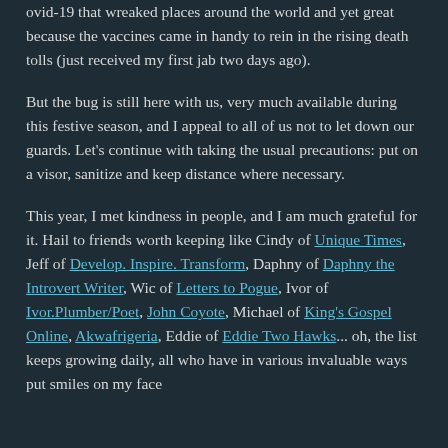ovid-19 that wreaked places around the world and yet great because the vaccines came in handy to rein in the rising death tolls (just received my first jab two days ago).
But the bug is still here with us, very much available during this festive season, and I appeal to all of us not to let down our guards. Let's continue with taking the usual precautions: put on a visor, sanitize and keep distance where necessary.
This year, I met kindness in people, and I am much grateful for it. Hail to friends worth keeping like Cindy of Unique Times, Jeff of Develop. Inspire. Transform, Daphny of Daphny the Introvert Writer, Wic of Letters to Pogue, Ivor of Ivor.Plumber/Poet, John Coyote, Michael of King's Gospel Online, Akwafrigeria, Eddie of Eddie Two Hawks... oh, the list keeps growing daily, all who have in various invaluable ways put smiles on my face